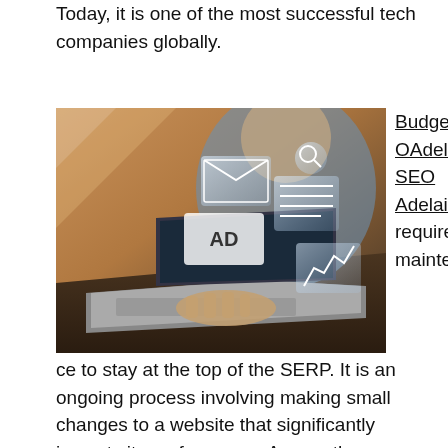Today, it is one of the most successful tech companies globally.
[Figure (photo): Person typing on a laptop with holographic digital icons and an 'AD' sign floating above it, representing digital advertising and SEO.]
BudgetSEOAdelaide SEO Adelaide is a strategy that requires constant maintenance to stay at the top of the SERP. It is an ongoing process involving making small changes to a website that significantly impacts its performance. Among these are keywords, page titles, and meta description tags. Although this may seem complex, it is essential to remember that most people are familiar with the basic